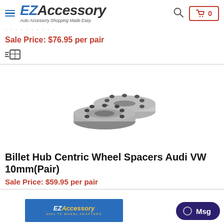EZAccessory - Auto Accessory Shopping Made Easy
Sale Price: $76.95 per pair
[Figure (illustration): Shipping/delivery icon showing a box with speed lines]
[Figure (photo): Two silver billet hub centric wheel spacers, circular with bolt holes, viewed from above at an angle]
Billet Hub Centric Wheel Spacers Audi VW 10mm(Pair)
Sale Price: $59.95 per pair
[Figure (logo): EZAccessory logo with text '6061 T6 WHEEL ADAPTERS' in footer banner]
Msg